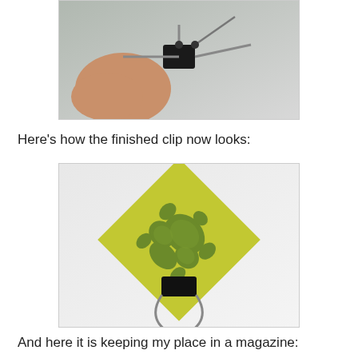[Figure (photo): Close-up photo of a hand holding a binder clip with metal wire arms extended, against a light background.]
Here's how the finished clip now looks:
[Figure (photo): Photo of a decorated binder clip with a yellow-green paper square featuring a turtle/tortoise silhouette pattern. The binder clip is attached to the bottom of the paper square.]
And here it is keeping my place in a magazine: